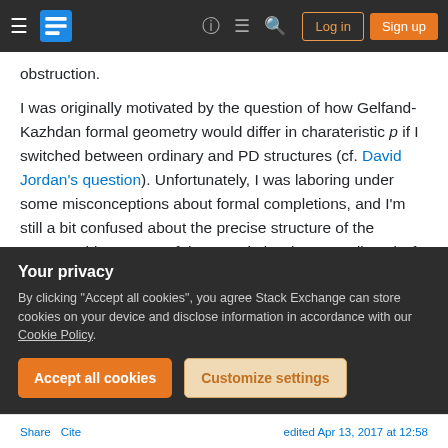Stack Exchange navigation bar with Log in and Sign up buttons
obstruction.
I was originally motivated by the question of how Gelfand-Kazhdan formal geometry would differ in charateristic p if I switched between ordinary and PD structures (cf. David Jordan's question). Unfortunately, I was laboring under some misconceptions about formal completions, and I'm still a bit confused about the precise structure of the automorphism group of the completion (PD or ordinary) of a smooth variety at a point in
Your privacy
By clicking "Accept all cookies", you agree Stack Exchange can store cookies on your device and disclose information in accordance with our Cookie Policy.
Accept all cookies   Customize settings
Share   Cite                    edited Apr 13, 2017 at 12:58